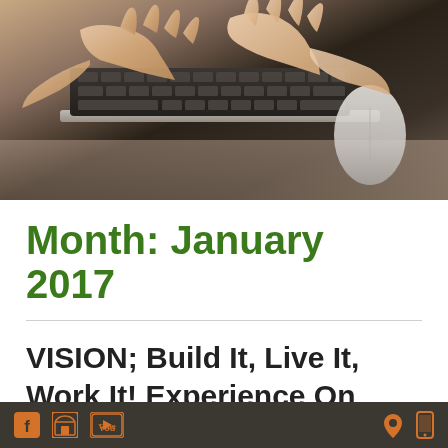[Figure (photo): Close-up photo of hands typing on a laptop keyboard with a mouse visible on the right]
Month: January 2017
VISION; Build It, Live It, Work It! Experience On February 25th
Social media icons: Facebook, store, YouTube on left; location pin and mobile phone icons on right